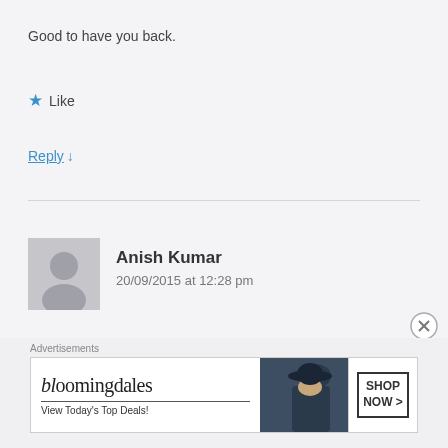Good to have you back.
★ Like
Reply ↓
[Figure (illustration): Gray default user avatar silhouette]
Anish Kumar
20/09/2015 at 12:28 pm
thanks a lot
★ Like
[Figure (screenshot): Bloomingdales advertisement banner: 'bloomingdales View Today's Top Deals! SHOP NOW >']
Advertisements